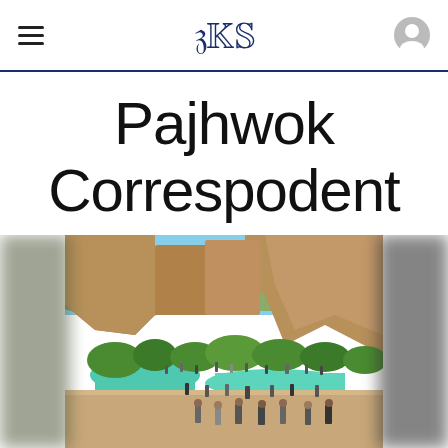Pajhwok (logo/navigation header)
Pajhwok Correspodent
[Figure (photo): Outdoor landscape photo showing a canyon/cliff area with turquoise river/lake, green trees, and many people walking on sandy ground. Blue sky visible above rocky cliffs.]